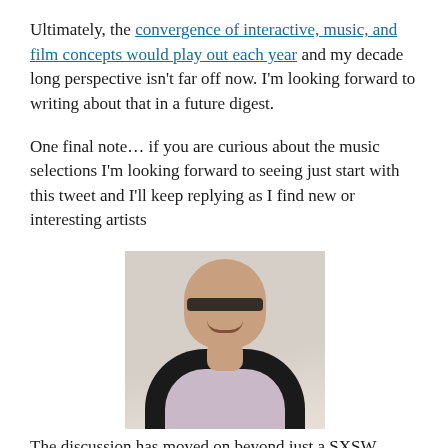Ultimately, the convergence of interactive, music, and film concepts would play out each year and my decade long perspective isn't far off now. I'm looking forward to writing about that in a future digest.
One final note… if you are curious about the music selections I'm looking forward to seeing just start with this tweet and I'll keep replying as I find new or interesting artists
[Figure (photo): Portrait photo of a bald man wearing glasses and a dark jacket over a light purple shirt, smiling at the camera against a light background.]
The discussion has moved on beyond just a SXSW...